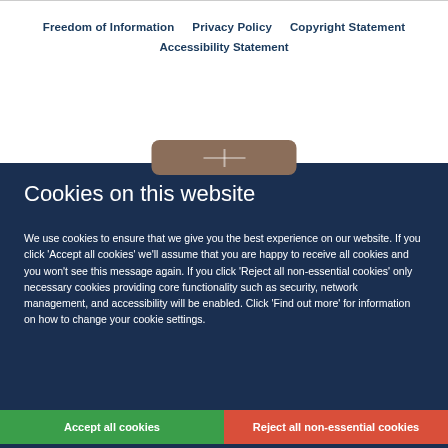Freedom of Information   Privacy Policy   Copyright Statement   Accessibility Statement
Cookies on this website
We use cookies to ensure that we give you the best experience on our website. If you click 'Accept all cookies' we'll assume that you are happy to receive all cookies and you won't see this message again. If you click 'Reject all non-essential cookies' only necessary cookies providing core functionality such as security, network management, and accessibility will be enabled. Click 'Find out more' for information on how to change your cookie settings.
Accept all cookies
Reject all non-essential cookies